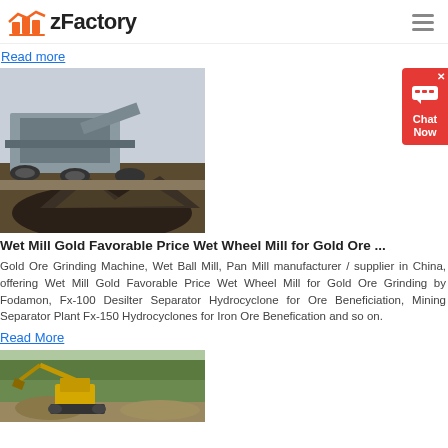zFactory
Read more
[Figure (photo): Mining crusher machine on a site with pile of crushed rocks/ore]
Wet Mill Gold Favorable Price Wet Wheel Mill for Gold Ore ...
Gold Ore Grinding Machine, Wet Ball Mill, Pan Mill manufacturer / supplier in China, offering Wet Mill Gold Favorable Price Wet Wheel Mill for Gold Ore Grinding by Fodamon, Fx-100 Desilter Separator Hydrocyclone for Ore Beneficiation, Mining Separator Plant Fx-150 Hydrocyclones for Iron Ore Benefication and so on.
Read More
[Figure (photo): Excavator working at a mining or construction site with trees in background]